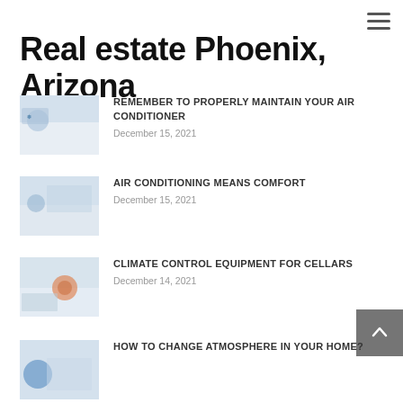Real estate Phoenix, Arizona
REMEMBER TO PROPERLY MAINTAIN YOUR AIR CONDITIONER
December 15, 2021
AIR CONDITIONING MEANS COMFORT
December 15, 2021
CLIMATE CONTROL EQUIPMENT FOR CELLARS
December 14, 2021
HOW TO CHANGE ATMOSPHERE IN YOUR HOME?